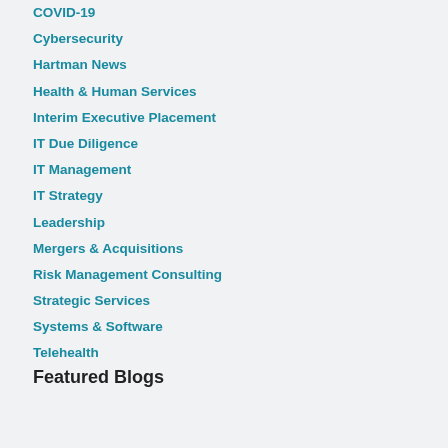COVID-19
Cybersecurity
Hartman News
Health & Human Services
Interim Executive Placement
IT Due Diligence
IT Management
IT Strategy
Leadership
Mergers & Acquisitions
Risk Management Consulting
Strategic Services
Systems & Software
Telehealth
Featured Blogs